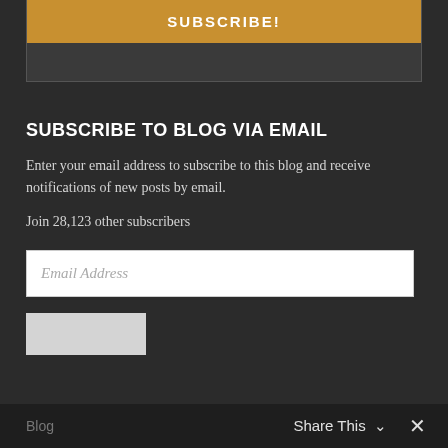[Figure (screenshot): Subscribe button banner with dark background and orange/gold SUBSCRIBE! button at top of page]
SUBSCRIBE TO BLOG VIA EMAIL
Enter your email address to subscribe to this blog and receive notifications of new posts by email.
Join 28,123 other subscribers
[Figure (other): Email Address input field (white text box)]
[Figure (other): Submit button (light grey rectangle)]
DISCOVER MORE
Blog    Share This ∨    ✕